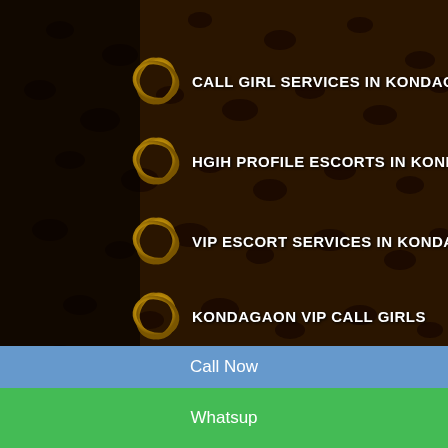CALL GIRL SERVICES IN KONDAGAON
HGIH PROFILE ESCORTS IN KONDAGAON
VIP ESCORT SERVICES IN KONDAGAON
KONDAGAON VIP CALL GIRLS
VIP GIRLS IN KONDAGAON
Call Now
Whatsup